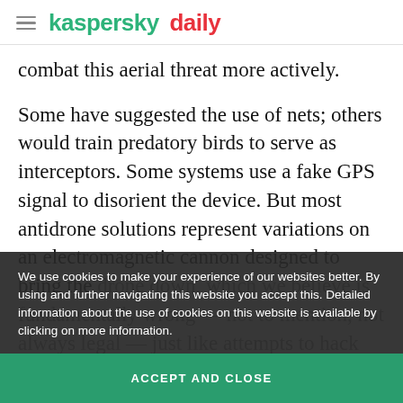kaspersky daily
combat this aerial threat more actively.
Some have suggested the use of nets; others would train predatory birds to serve as interceptors. Some systems use a fake GPS signal to disorient the device. But most antidrone solutions represent variations on an electromagnetic cannon designed to bring the drone down, which we believe is fundamentally wrong — not to mention, not always legal — just like attempts to hack communications control link. We prefer the most ingenious solution of bringing a copy...
We use cookies to make your experience of our websites better. By using and further navigating this website you accept this. Detailed information about the use of cookies on this website is available by clicking on more information.
ACCEPT AND CLOSE